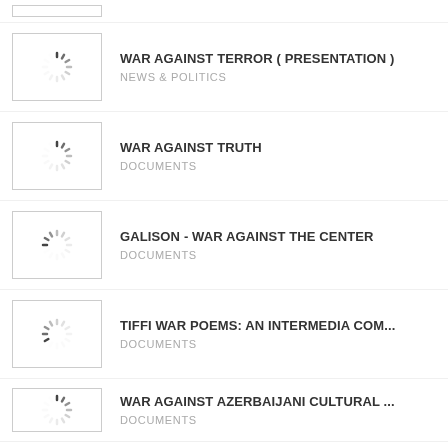WAR AGAINST TERROR ( PRESENTATION ) | NEWS & POLITICS
WAR AGAINST TRUTH | DOCUMENTS
GALISON - WAR AGAINST THE CENTER | DOCUMENTS
TIFFI WAR POEMS: AN INTERMEDIA COM... | DOCUMENTS
WAR AGAINST AZERBAIJANI CULTURAL ... | DOCUMENTS